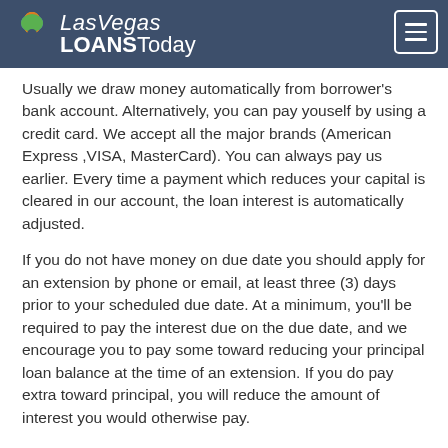[Figure (logo): Las Vegas Loans Today logo with colorful four-leaf clover icon on dark blue header bar with hamburger menu button]
Usually we draw money automatically from borrower's bank account. Alternatively, you can pay youself by using a credit card. We accept all the major brands (American Express ,VISA, MasterCard). You can always pay us earlier. Every time a payment which reduces your capital is cleared in our account, the loan interest is automatically adjusted.
If you do not have money on due date you should apply for an extension by phone or email, at least three (3) days prior to your scheduled due date. At a minimum, you'll be required to pay the interest due on the due date, and we encourage you to pay some toward reducing your principal loan balance at the time of an extension. If you do pay extra toward principal, you will reduce the amount of interest you would otherwise pay.